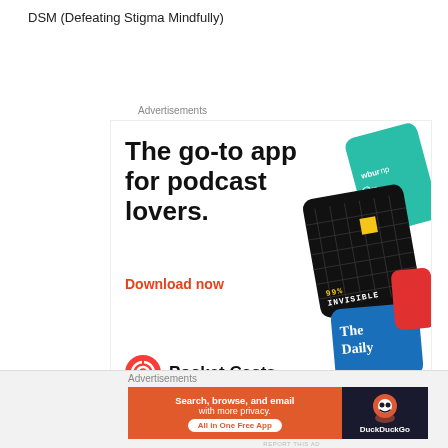DSM (Defeating Stigma Mindfully)
Advertisements
[Figure (screenshot): Pocket Casts advertisement showing app cards for 99% Invisible, The Daily, and other podcasts. Bold headline reads 'The go-to app for podcast lovers.' with 'Download now' in red. Pocket Casts logo at bottom left. 'REPORT THIS AD' text at bottom right.]
Advertisements
[Figure (screenshot): DuckDuckGo advertisement. Orange left panel with text 'Search, browse, and email with more privacy.' and 'All in One Free App' button. Dark right panel with DuckDuckGo logo and name. 'REPORT THIS AD' at bottom right.]